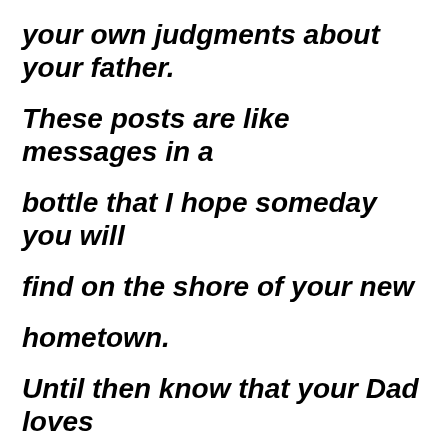your own judgments about your father. These posts are like messages in a bottle that I hope someday you will find on the shore of your new hometown. Until then know that your Dad loves you with all his heart, and that you are